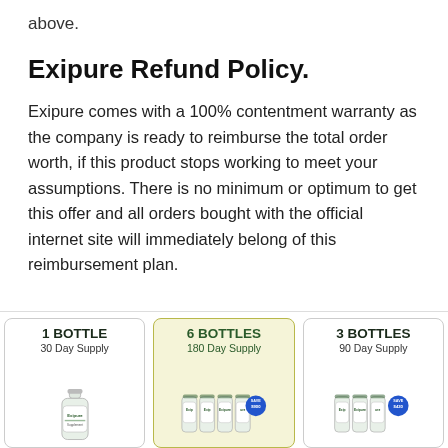above.
Exipure Refund Policy.
Exipure comes with a 100% contentment warranty as the company is ready to reimburse the total order worth, if this product stops working to meet your assumptions. There is no minimum or optimum to get this offer and all orders bought with the official internet site will immediately belong of this reimbursement plan.
[Figure (illustration): Three product cards showing 1 Bottle (30 Day Supply), 6 Bottles (180 Day Supply, highlighted in yellow, SAVE $900 badge), and 3 Bottles (90 Day Supply, SAVE $420 badge), each with bottle images.]